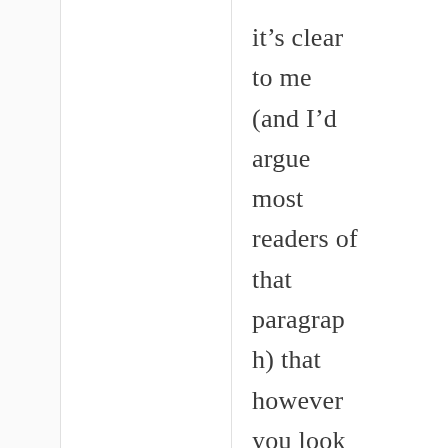it's clear to me (and I'd argue most readers of that paragraph) that however you look at it, they were actually complete